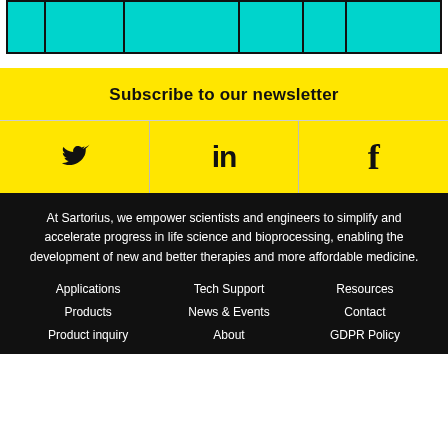[Figure (other): Teal/cyan colored table header row with black borders and multiple columns]
Subscribe to our newsletter
[Figure (other): Three social media icons on yellow background: Twitter bird, LinkedIn 'in', Facebook 'f']
At Sartorius, we empower scientists and engineers to simplify and accelerate progress in life science and bioprocessing, enabling the development of new and better therapies and more affordable medicine.
Applications Products Product inquiry Tech Support News & Events About Resources Contact GDPR Policy